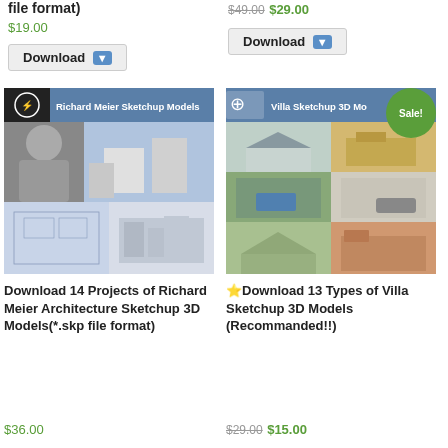file format)
$19.00
$49.00 $29.00
Download
Download
[Figure (photo): Richard Meier Sketchup Models product image collage showing architect portrait, modern white architecture, floor plans and building renders]
[Figure (photo): Villa Sketchup 3D Models product image collage showing multiple villa renders with Sale! badge]
Download 14 Projects of Richard Meier Architecture Sketchup 3D Models(*.skp file format)
⭐Download 13 Types of Villa Sketchup 3D Models (Recommanded!!)
$36.00
$29.00 $15.00